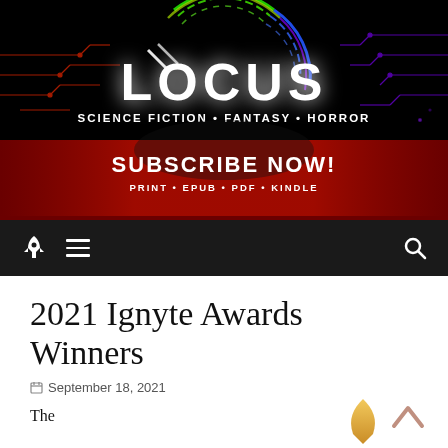[Figure (logo): Locus Magazine banner with rainbow circular design, white LOCUS text, 'SCIENCE FICTION • FANTASY • HORROR' subtitle, red band with 'SUBSCRIBE NOW! PRINT • EPUB • PDF • KINDLE', circuit board decorative lines on black background]
Navigation bar with rocket icon, hamburger menu, and search icon on dark background
2021 Ignyte Awards Winners
September 18, 2021
The